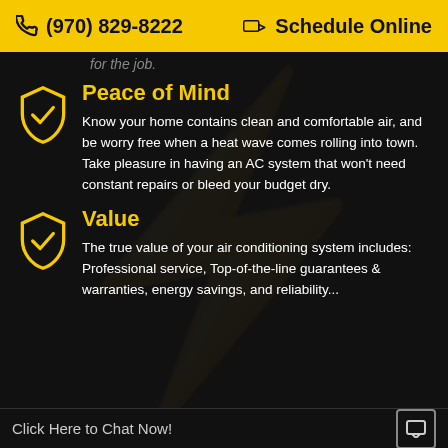(970) 829-8222  Schedule Online
for the job.
Peace of Mind
Know your home contains clean and comfortable air, and be worry free when a heat wave comes rolling into town. Take pleasure in having an AC system that won't need constant repairs or bleed your budget dry.
Value
The true value of your air conditioning system includes: Professional service, Top-of-the-line guarantees & warranties, energy savings, and reliability...
Click Here to Chat Now!